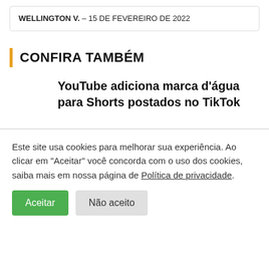WELLINGTON V. – 15 DE FEVEREIRO DE 2022
CONFIRA TAMBÉM
YouTube adiciona marca d'água para Shorts postados no TikTok
Este site usa cookies para melhorar sua experiência. Ao clicar em "Aceitar" você concorda com o uso dos cookies, saiba mais em nossa página de Política de privacidade.
Aceitar  Não aceito